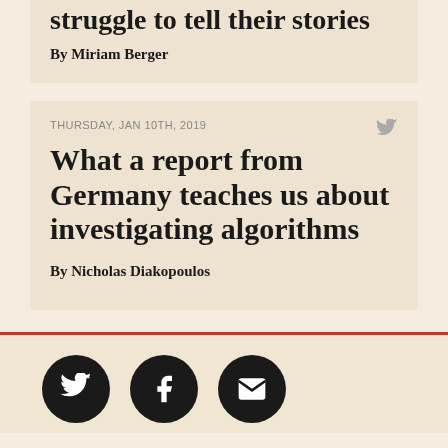struggle to tell their stories
By Miriam Berger
THURSDAY, JAN 10TH, 2019
What a report from Germany teaches us about investigating algorithms
By Nicholas Diakopoulos
[Figure (infographic): Social media share icons: Twitter bird, Facebook f, and envelope/email icons, each in a black circle]